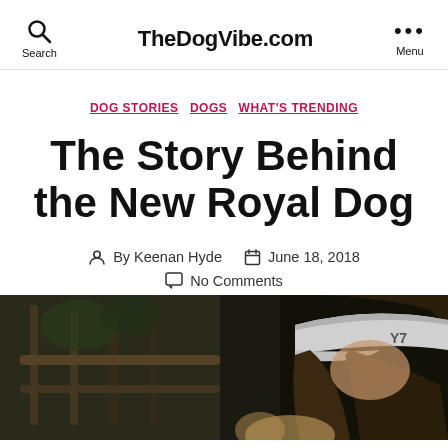TheDogVibe.com
DOG STORIES  DOGS  WHAT'S TRENDING
The Story Behind the New Royal Dog
By Keenan Hyde  June 18, 2018  No Comments
[Figure (photo): Woman with dark hair wearing a cap with logo, looking down, next to bars/fence structure with greenery, partial view of a dog below]